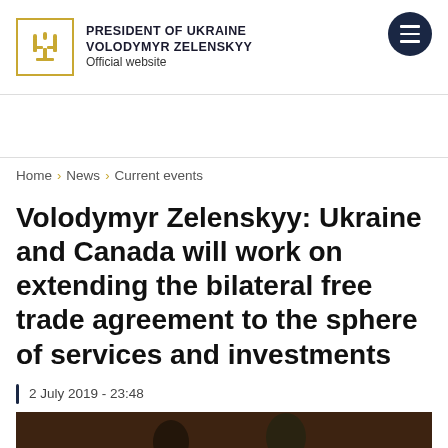PRESIDENT OF UKRAINE VOLODYMYR ZELENSKYY Official website
Home > News > Current events
Volodymyr Zelenskyy: Ukraine and Canada will work on extending the bilateral free trade agreement to the sphere of services and investments
2 July 2019 - 23:48
[Figure (photo): Photo of two people in a formal setting, partially visible at the bottom of the page. An expand icon button overlays the lower right of the image.]